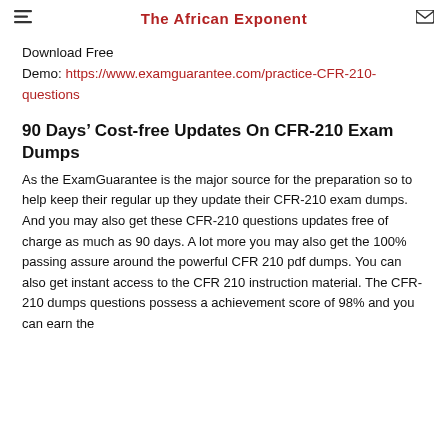The African Exponent
Download Free
Demo: https://www.examguarantee.com/practice-CFR-210-questions
90 Days’ Cost-free Updates On CFR-210 Exam Dumps
As the ExamGuarantee is the major source for the preparation so to help keep their regular up they update their CFR-210 exam dumps. And you may also get these CFR-210 questions updates free of charge as much as 90 days. A lot more you may also get the 100% passing assure around the powerful CFR 210 pdf dumps. You can also get instant access to the CFR 210 instruction material. The CFR-210 dumps questions possess a achievement score of 98% and you can earn the